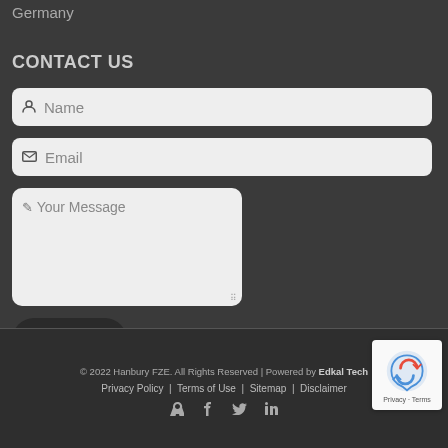Germany
CONTACT US
Name (input field)
Email (input field)
Your Message (textarea)
SEND (button)
© 2022 Hanbury FZE. All Rights Reserved | Powered by Edkal Tech  Privacy Policy | Terms of Use | Sitemap | Disclaimer